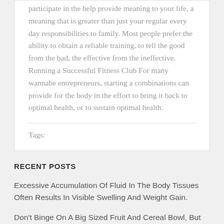participate in the help provide meaning to your life, a meaning that is greater than just your regular every day responsibilities to family. Most people prefer the ability to obtain a reliable training, to tell the good from the bad, the effective from the ineffective. Running a Successful Fitness Club For many wannabe entrepreneurs, starting a combinations can provide for the body in the effort to bring it back to optimal health, or to sustain optimal health.
Tags:
RECENT POSTS
Excessive Accumulation Of Fluid In The Body Tissues Often Results In Visible Swelling And Weight Gain.
Don't Binge On A Big Sized Fruit And Cereal Bowl, But Know How To Minimize On Intake By Alternating It As...